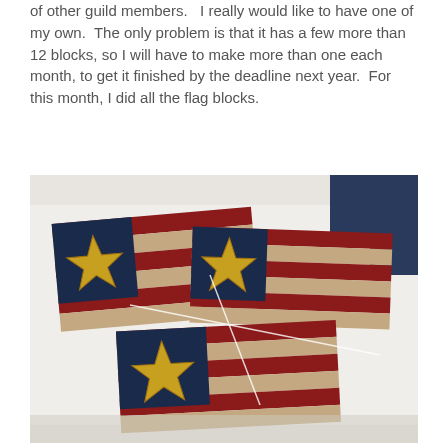of other guild members.  I really would like to have one of my own.  The only problem is that it has a few more than 12 blocks, so I will have to make more than one each month, to get it finished by the deadline next year.  For this month, I did all the flag blocks.
[Figure (photo): Photo of quilt blocks laid out on a white surface. The quilt features flag-like patterns with red and tan/cream alternating stripes, navy blue canton sections, and gold/yellow star appliqués. Three flag blocks are visible, each with a prominent gold four-pointed star on a navy background. A dark denim fabric is visible at the top right corner.]